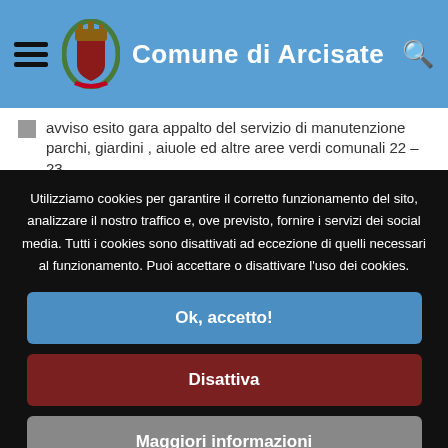Comune di Arcisate
avviso esito gara appalto del servizio di manutenzione parchi, giardini , aiuole ed altre aree verdi comunali 22 – 23
Utilizziamo cookies per garantire il corretto funzionamento del sito, analizzare il nostro traffico e, ove previsto, fornire i servizi dei social media. Tutti i cookies sono disattivati ad eccezione di quelli necessari al funzionamento. Puoi accettare o disattivare l'uso dei cookies.
Ok, accetto!
Disattiva
Maggiori informazioni